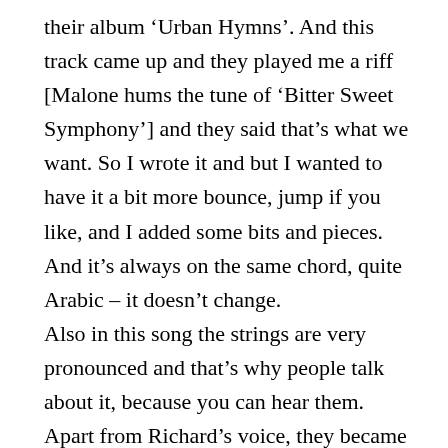their album ‘Urban Hymns’. And this track came up and they played me a riff [Malone hums the tune of ‘Bitter Sweet Symphony’] and they said that’s what we want. So I wrote it and but I wanted to have it a bit more bounce, jump if you like, and I added some bits and pieces. And it’s always on the same chord, quite Arabic – it doesn’t change.
Also in this song the strings are very pronounced and that’s why people talk about it, because you can hear them. Apart from Richard’s voice, they became the most important element of the song. The strings were basically performed by the same team of session musicians who did ‘Unfinished Sympathy’ but done by a smaller group of 24 people at Olympic